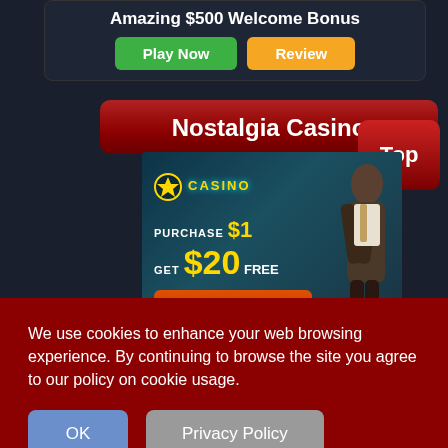Amazing $500 Welcome Bonus
Play Now
Review
Nostalgia Casino
Top
[Figure (screenshot): Casino advertisement showing 'PURCHASE $1 GET $20 FREE' with a man in a suit and a 'Click Here to Play Now!' button]
We use cookies to enhance your web browsing experience. By continuing to browse the site you agree to our policy on cookie usage.
OK
Privacy Policy